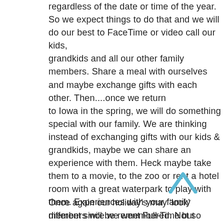regardless of the date or time of the year. So we expect things to do that and we will do our best to FaceTime or video call our kids, grandkids and all our other family members. Share a meal with ourselves and maybe exchange gifts with each other. Then....once we return to Iowa in the spring, we will do something special with our family. We are thinking instead of exchanging gifts with our kids & grandkids, maybe we can share an experience with them. Heck maybe take them to a movie, to the zoo or rent a hotel room with a great waterpark to play with them. Experiences with your family members will be remembered. Not so much the ‘stuff’.
Once again our holiday’s may ‘look’ different since we went Full-Time but what’s important is